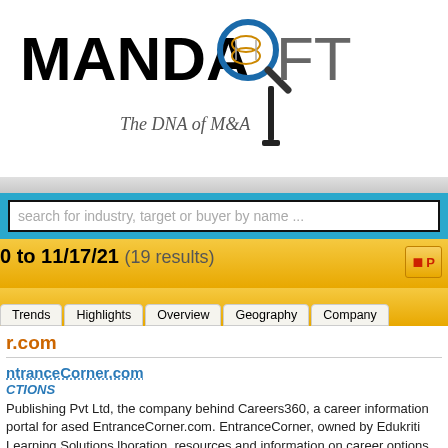[Figure (logo): MANDASOFT logo with magnifying glass icon and tagline 'The DNA of M&A']
search for industry, target or buyer by name ...
0 to 11/17/21 (19 results)
r.com
ntranceCorner.com
CTIONS
Publishing Pvt Ltd, the company behind Careers360, a career information portal for ased EntranceCorner.com. EntranceCorner, owned by Edukriti Learning Solutions lboration, resources and information on career options to students.
target: EntranceCorner.com
EntranceCorner.com started in April 2009, enables
nd technology-driven